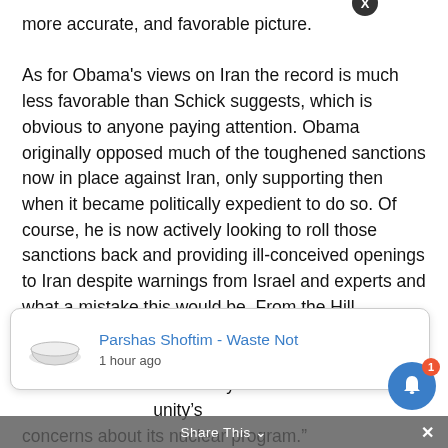more accurate, and favorable picture.

As for Obama's views on Iran the record is much less favorable than Schick suggests, which is obvious to anyone paying attention. Obama originally opposed much of the toughened sanctions now in place against Iran, only supporting then when it became politically expedient to do so. Of course, he is now actively looking to roll those sanctions back and providing ill-conceived openings to Iran despite warnings from Israel and experts and what a mistake this would be. From the Hill magazine just 2 days ago: “The Obama administration said Monday it’s ready to … the country … unity’s concerns about its nuclear program.”
[Figure (screenshot): Notification card showing 'Parshas Shoftim - Waste Not' posted 1 hour ago, with an image of a bowl, overlaid on the article text. A close button (X) appears above the card. Below is a 'Share This' bar and a blue notification bell with badge count 1.]